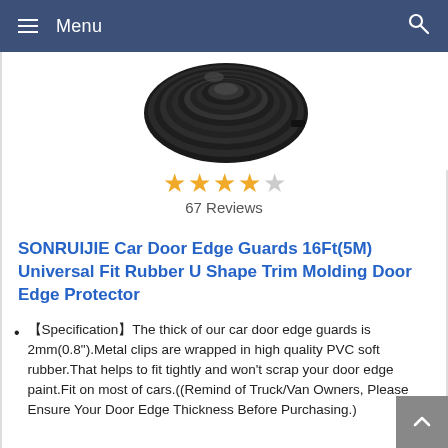Menu
[Figure (photo): Coiled black rubber U-shape trim molding rolled into a ring shape, product photo on white background]
67 Reviews
SONRUIJIE Car Door Edge Guards 16Ft(5M) Universal Fit Rubber U Shape Trim Molding Door Edge Protector
【Specification】The thick of our car door edge guards is 2mm(0.8").Metal clips are wrapped in high quality PVC soft rubber.That helps to fit tightly and won't scrap your door edge paint.Fit on most of cars.((Remind of Truck/Van Owners, Please Ensure Your Door Edge Thickness Before Purchasing.)